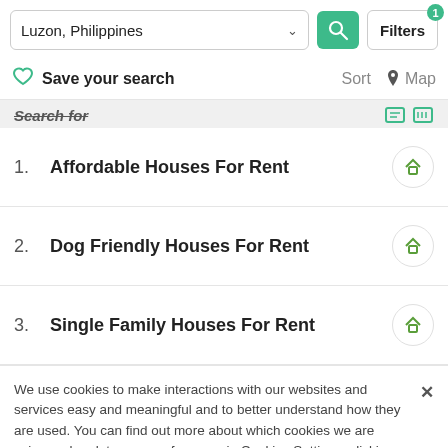Luzon, Philippines | Filters 1
Save your search  Sort  Map
Search for
1. Affordable Houses For Rent
2. Dog Friendly Houses For Rent
3. Single Family Houses For Rent
We use cookies to make interactions with our websites and services easy and meaningful and to better understand how they are used. You can find out more about which cookies we are using and update your preferences in Cookies Settings. clicking “Accept All Cookies,” you are agreeing to our use
Join our network
LPI is the luxury marketing division of Leading Real Estate Companies of the World® Luxury Portfolio Int.
Open